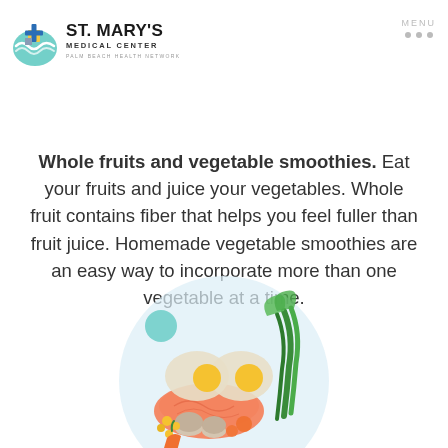ST. MARY'S MEDICAL CENTER | PALM BEACH HEALTH NETWORK | MENU
Whole fruits and vegetable smoothies. Eat your fruits and juice your vegetables. Whole fruit contains fiber that helps you feel fuller than fruit juice. Homemade vegetable smoothies are an easy way to incorporate more than one vegetable at a time.
[Figure (illustration): Illustration of a plate with healthy foods including salmon, eggs, mushrooms, corn, green onions/leeks, carrots, and other vegetables on a light blue circular background.]